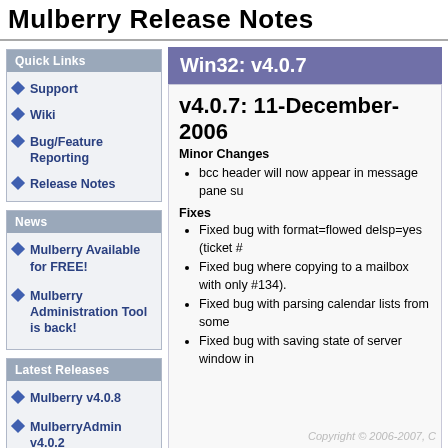Mulberry Release Notes
Quick Links
Support
Wiki
Bug/Feature Reporting
Release Notes
News
Mulberry Available for FREE!
Mulberry Administration Tool is back!
Latest Releases
Mulberry v4.0.8
MulberryAdmin v4.0.2
Win32: v4.0.7
v4.0.7: 11-December-2006
Minor Changes
bcc header will now appear in message pane su
Fixes
Fixed bug with format=flowed delsp=yes (ticket #
Fixed bug where copying to a mailbox with only #134).
Fixed bug with parsing calendar lists from some
Fixed bug with saving state of server window in
Copyright © 2006-2007, C